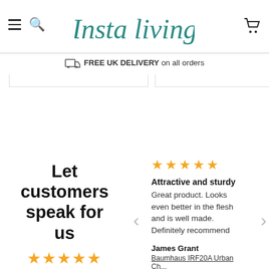Insta Living — FREE UK DELIVERY on all orders
Let customers speak for us
★★★★★ from 102 reviews
★★★★★
Attractive and sturdy
Great product. Looks even better in the flesh and is well made. Definitely recommend
James Grant
Baumhaus IRF20A Urban Ch...
27/04/2022